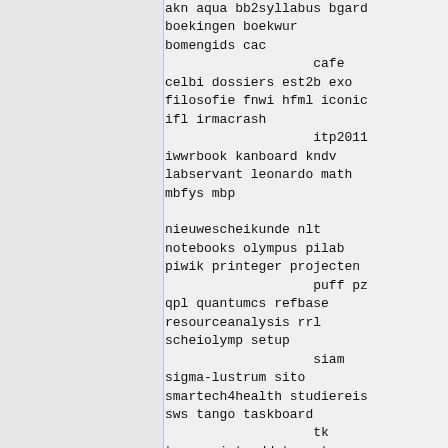akn aqua bb2syllabus bgard boekingen boekwur bomengids cac
                     cafe
celbi dossiers est2b exo filosofie fnwi hfml iconic ifl irmacrash
                     itp2011
iwwrbook kanboard kndv labservant leonardo math mbfys mbp

nieuwescheikunde nlt notebooks olympus pilab piwik printeger projecten
                     puff pz
qpl quantumcs refbase resourceanalysis rrl scheiolymp setup
                     siam
sigma-lustrum sito smartech4health studiereis sws tango taskboard
                     tk
toernooi tredd trooster